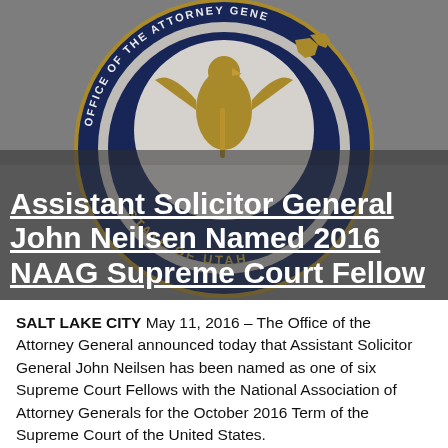[Figure (illustration): Utah Office of the Attorney General official seal, circular with navy blue border and gold eagle/figure, text reading STATE OF UTAH around the lower portion. A large bold white underlined headline is overlaid on top of the seal image.]
Assistant Solicitor General John Neilsen Named 2016 NAAG Supreme Court Fellow
SALT LAKE CITY May 11, 2016 – The Office of the Attorney General announced today that Assistant Solicitor General John Neilsen has been named as one of six Supreme Court Fellows with the National Association of Attorney Generals for the October 2016 Term of the Supreme Court of the United States.
"Congratulations to John Nielsen for being named a